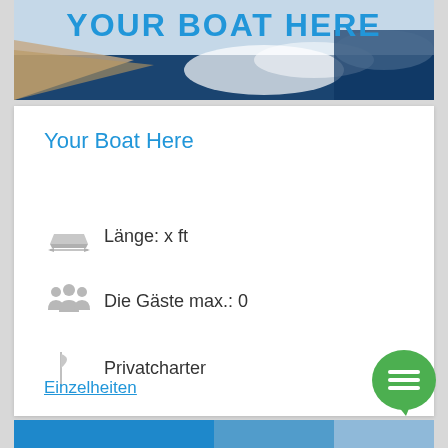[Figure (photo): Top banner with 'YOUR BOAT HERE' text in bold blue letters over a boat/water image with blue tones and wave splash]
Your Boat Here
Länge: x ft
Die Gäste max.: 0
Privatcharter
Einzelheiten
Vo
[Figure (photo): Partial bottom banner showing a boat image with blue tones]